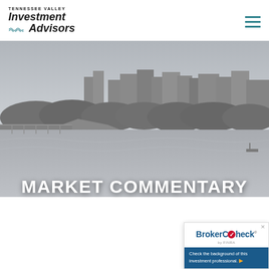Tennessee Valley Investment Advisors
[Figure (photo): Black and white aerial/riverside photo of a city skyline with a bridge and river in the foreground, Tennessee Valley city scene]
MARKET COMMENTARY
[Figure (other): BrokerCheck by FINRA widget — blue banner with 'BrokerCheck by FINRA' and text 'Check the background of this investment professional.']